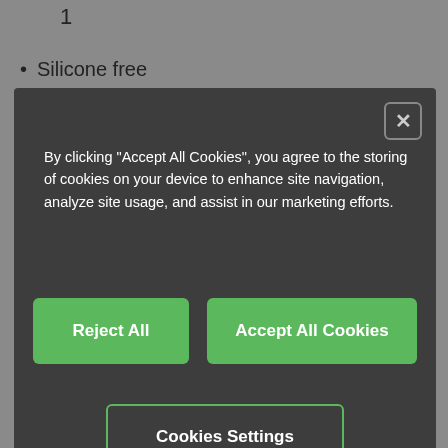1
Silicone free
By clicking "Accept All Cookies", you agree to the storing of cookies on your device to enhance site navigation, analyze site usage, and assist in our marketing efforts.
Reject All
Accept All Cookies
Cookies Settings
Manufacturer Part No
PB B D G B XXX
Cable type
Basic cable